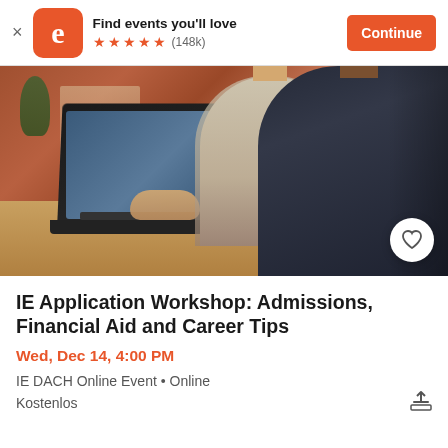Find events you'll love ★★★★★ (148k) Continue
[Figure (photo): Two professionals at a desk — a blonde woman in a blazer and a dark-haired man in a suit — looking at a laptop together in a brick-wall office setting]
IE Application Workshop: Admissions, Financial Aid and Career Tips
Wed, Dec 14, 4:00 PM
IE DACH Online Event • Online
Kostenlos